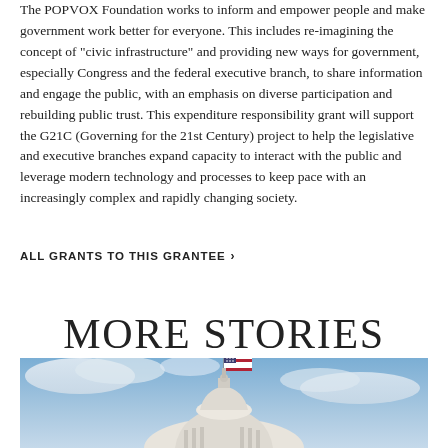The POPVOX Foundation works to inform and empower people and make government work better for everyone. This includes re-imagining the concept of "civic infrastructure" and providing new ways for government, especially Congress and the federal executive branch, to share information and engage the public, with an emphasis on diverse participation and rebuilding public trust. This expenditure responsibility grant will support the G21C (Governing for the 21st Century) project to help the legislative and executive branches expand capacity to interact with the public and leverage modern technology and processes to keep pace with an increasingly complex and rapidly changing society.
ALL GRANTS TO THIS GRANTEE >
MORE STORIES
[Figure (photo): Photograph of a US Capitol building dome with an American flag waving in the foreground against a cloudy blue sky, with a statue visible atop the dome.]